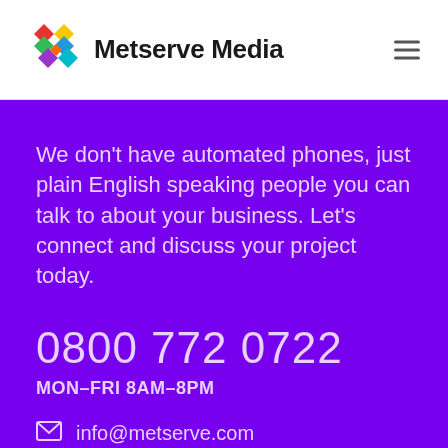[Figure (logo): Metserve Media logo with colorful M chevron icon and bold dark text 'Metserve Media' plus hamburger menu icon]
We don't have automated phones, just plain English speaking people you can talk to about your business. Let's connect and discuss your project today.
0800 772 0722
MON–FRI 8AM–8PM
info@metserve.com